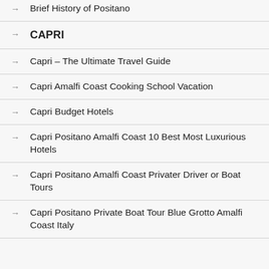→ Brief History of Positano
→ CAPRI
→ Capri – The Ultimate Travel Guide
→ Capri Amalfi Coast Cooking School Vacation
→ Capri Budget Hotels
→ Capri Positano Amalfi Coast 10 Best Most Luxurious Hotels
→ Capri Positano Amalfi Coast Privater Driver or Boat Tours
→ Capri Positano Private Boat Tour Blue Grotto Amalfi Coast Italy